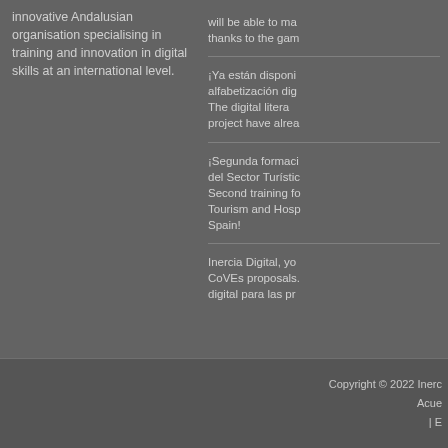innovative Andalusian organisation specialising in training and innovation in digital skills at an international level.
will be able to ma thanks to the gam
¡Ya están disponi alfabetización dig The digital litera project have alrea
¡Segunda formaci del Sector Turístic Second training fo Tourism and Hosp Spain!
Inercia Digital, yo CoVEs proposals. digital para las pr
Copyright © 2022 Inerc Acue | E